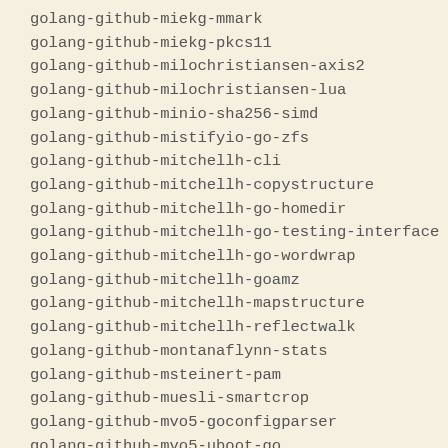golang-github-miekg-mmark
golang-github-miekg-pkcs11
golang-github-milochristiansen-axis2
golang-github-milochristiansen-lua
golang-github-minio-sha256-simd
golang-github-mistifyio-go-zfs
golang-github-mitchellh-cli
golang-github-mitchellh-copystructure
golang-github-mitchellh-go-homedir
golang-github-mitchellh-go-testing-interface
golang-github-mitchellh-go-wordwrap
golang-github-mitchellh-goamz
golang-github-mitchellh-mapstructure
golang-github-mitchellh-reflectwalk
golang-github-montanaflynn-stats
golang-github-msteinert-pam
golang-github-muesli-smartcrop
golang-github-mvo5-goconfigparser
golang-github-mvo5-uboot-go
golang-github-mxk-go-flowrate
golang-github-ncw-acd
golang-github-ncw-dropbox-sdk-unofficial
golang-github-ncw-swift
golang-github-peelance-astrewrite